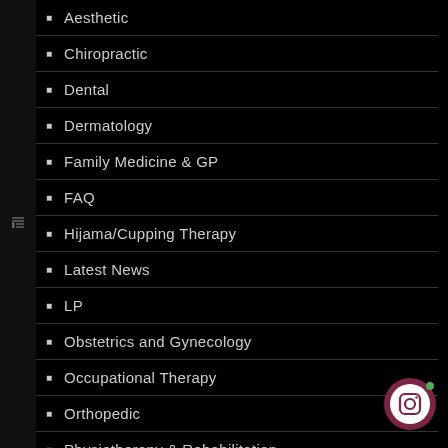Aesthetic
Chiropractic
Dental
Dermatology
Family Medicine & GP
FAQ
Hijama/Cupping Therapy
Latest News
LP
Obstetrics and Gynecology
Occupational Therapy
Orthopedic
Physiotherapy & Rehabilitation
[Figure (logo): Instagram circular button with dark red/maroon background and white Instagram icon, with a small green dot indicator]